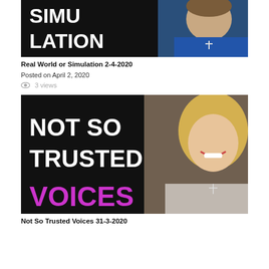[Figure (screenshot): Video thumbnail for 'Real World or Simulation 2-4-2020' with white bold text 'SIMU LATION' on black background and a woman in blue top on the right]
Real World or Simulation 2-4-2020
Posted on April 2, 2020
3 views
[Figure (screenshot): Video thumbnail for 'Not So Trusted Voices 31-3-2020' with white bold text 'NOT SO TRUSTED' and pink/purple bold text 'VOICES' on black background, with a smiling blonde woman on the right]
Not So Trusted Voices 31-3-2020